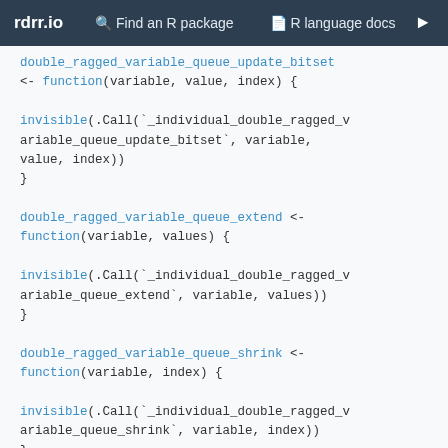rdrr.io   Find an R package   R language docs
double_ragged_variable_queue_update_bitset <- function(variable, value, index) {

invisible(.Call(`_individual_double_ragged_variable_queue_update_bitset`, variable, value, index))
}

double_ragged_variable_queue_extend <- function(variable, values) {

invisible(.Call(`_individual_double_ragged_variable_queue_extend`, variable, values))
}

double_ragged_variable_queue_shrink <- function(variable, index) {

invisible(.Call(`_individual_double_ragged_variable_queue_shrink`, variable, index))
}